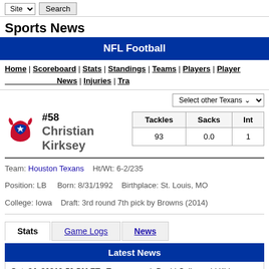Site | Search
Sports News
NFL Football
Home | Scoreboard | Stats | Standings | Teams | Players | Player News | Injuries | Tra
Select other Texans
#58 Christian Kirksey
| Tackles | Sacks | Int |
| --- | --- | --- |
| 93 | 0.0 | 1 |
Team: Houston Texans  Ht/Wt: 6-2/235
Position: LB  Born: 8/31/1992  Birthplace: St. Louis, MO
College: Iowa  Draft: 3rd round 7th pick by Browns (2014)
Stats | Game Logs | News
Latest News
Oct. 24, 20218:59 PM ET - Texans coach David Culley said Kirksey may have fractured his thumb during his team's Week 7 loss at Arizona.